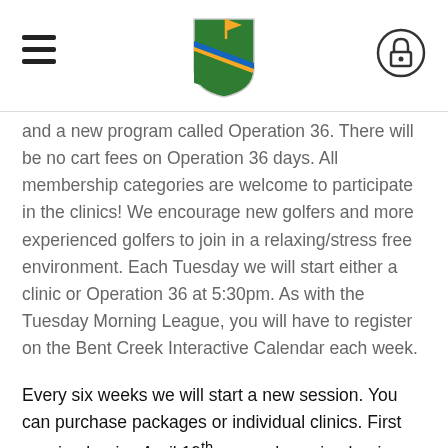Bent Creek Golf Club header with logo, hamburger menu, and lock icon
and a new program called Operation 36. There will be no cart fees on Operation 36 days. All membership categories are welcome to participate in the clinics! We encourage new golfers and more experienced golfers to join in a relaxing/stress free environment. Each Tuesday we will start either a clinic or Operation 36 at 5:30pm. As with the Tuesday Morning League, you will have to register on the Bent Creek Interactive Calendar each week.
Every six weeks we will start a new session. You can purchase packages or individual clinics. First session begins April 19th, second session begins June 7th.